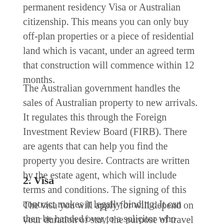permanent residency Visa or Australian citizenship. This means you can only buy off-plan properties or a piece of residential land which is vacant, under an agreed term that construction will commence within 12 months.
The Australian government handles the sales of Australian property to new arrivals. It regulates this through the Foreign Investment Review Board (FIRB). There are agents that can help you find the property you desire. Contracts are written by the estate agent, which will include terms and conditions. The signing of this contract makes it legally binding. It can then be handed over to a solicitor who handles the settlement process.
2. Visa
The visa you will apply for will depend on your duration of stay, the purpose of travel and if you are moving with your